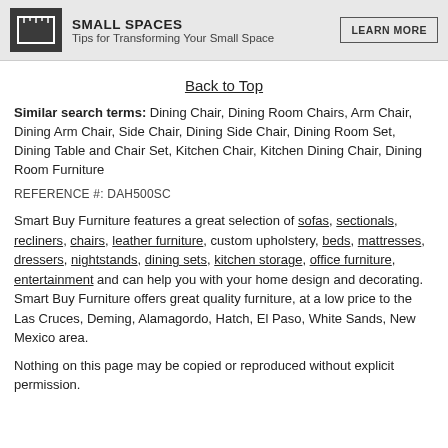[Figure (logo): Small Spaces banner with ruler icon, title 'SMALL SPACES', subtitle 'Tips for Transforming Your Small Space', and a 'LEARN MORE' button]
Back to Top
Similar search terms: Dining Chair, Dining Room Chairs, Arm Chair, Dining Arm Chair, Side Chair, Dining Side Chair, Dining Room Set, Dining Table and Chair Set, Kitchen Chair, Kitchen Dining Chair, Dining Room Furniture
REFERENCE #: DAH500SC
Smart Buy Furniture features a great selection of sofas, sectionals, recliners, chairs, leather furniture, custom upholstery, beds, mattresses, dressers, nightstands, dining sets, kitchen storage, office furniture, entertainment and can help you with your home design and decorating. Smart Buy Furniture offers great quality furniture, at a low price to the Las Cruces, Deming, Alamagordo, Hatch, El Paso, White Sands, New Mexico area.
Nothing on this page may be copied or reproduced without explicit permission.